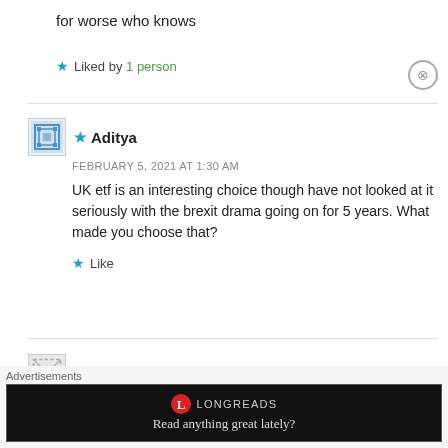for worse who knows
★ Liked by 1 person
★ Aditya
FEBRUARY 5, 2021 AT 1:30 AM
UK etf is an interesting choice though have not looked at it seriously with the brexit drama going on for 5 years. What made you choose that?
★ Like
Nitin
FEBRUARY 5, 2021 AT 2:11 AM
Advertisements
[Figure (screenshot): Longreads advertisement banner: red circle logo, LONGREADS text, tagline 'Read anything great lately?']